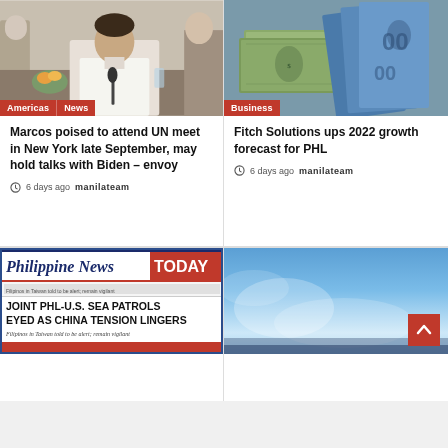[Figure (photo): Man in white shirt seated at a meeting table with microphone]
[Figure (photo): Stack of US dollar bills and Philippine peso banknotes]
Marcos poised to attend UN meet in New York late September, may hold talks with Biden – envoy
6 days ago manilateam
Fitch Solutions ups 2022 growth forecast for PHL
6 days ago manilateam
[Figure (screenshot): Philippine News Today newspaper front page with headline JOINT PHL-U.S. SEA PATROLS EYED AS CHINA TENSION LINGERS]
[Figure (photo): Blue sky or background image with scroll-to-top button]